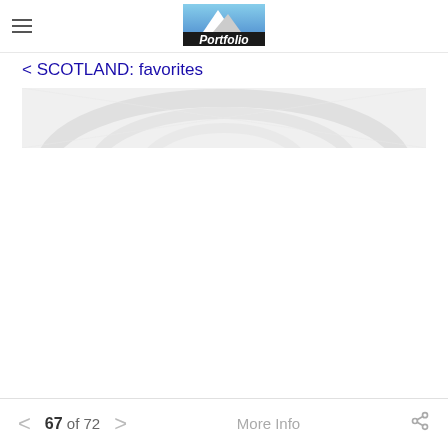Portfolio
< SCOTLAND: favorites
[Figure (photo): Partially visible architectural photo showing arched ceiling or vaulted interior structure, light gray tones, mostly washed out/overexposed]
< 67 of 72 > More Info share